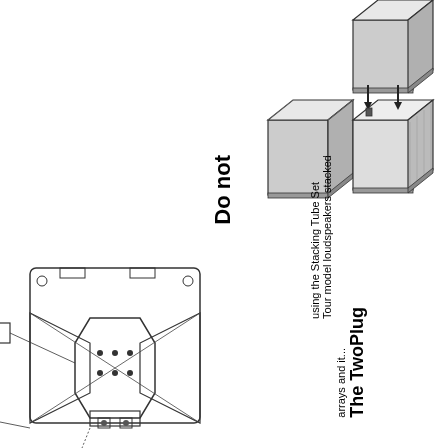[Figure (engineering-diagram): Technical isometric diagram showing stacking tube set with two loudspeaker cabinets being stacked, with arrows indicating assembly direction]
Do not
using the Stacking Tube Set
Tour model loudspeakers stacked
[Figure (engineering-diagram): Technical top-view diagram of a loudspeaker array showing internal components, connections and wiring with callout lines]
arrays and it...
The TwoPlug